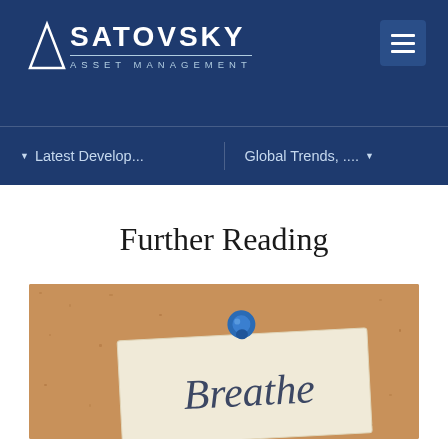[Figure (logo): Satovsky Asset Management logo with triangle icon on dark blue header background]
Latest Develop... | Global Trends, ....
Further Reading
[Figure (photo): A corkboard with a note card pinned by a blue thumbtack. The note card is written in cursive: 'Breathe']